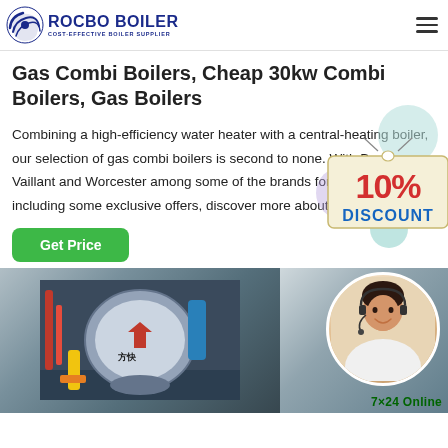[Figure (logo): Rocbo Boiler logo with circular icon and text 'ROCBO BOILER / COST-EFFECTIVE BOILER SUPPLIER' in blue]
Gas Combi Boilers, Cheap 30kw Combi Boilers, Gas Boilers
Combining a high-efficiency water heater with a central-heating boiler, our selection of gas combi boilers is second to none. With Baxi, Vaillant and Worcester among some of the brands for sale online, including some exclusive offers, discover more about the...
[Figure (illustration): 10% DISCOUNT badge/sticker with red text '10%' and blue text 'DISCOUNT' on a cream/beige card background]
[Figure (photo): Industrial boiler equipment photo showing a large cylindrical FANGTAI boiler with Chinese characters in a factory setting, and a circular inset image of a female customer service consultant wearing a headset]
7×24 Online